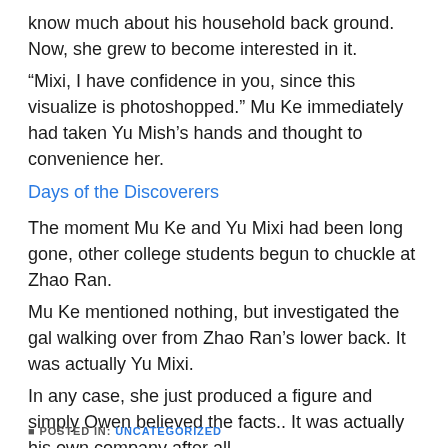know much about his household back ground. Now, she grew to become interested in it.
“Mixi, I have confidence in you, since this visualize is photoshopped.” Mu Ke immediately had taken Yu Mish’s hands and thought to convenience her.
Days of the Discoverers
The moment Mu Ke and Yu Mixi had been long gone, other college students begun to chuckle at Zhao Ran.
Mu Ke mentioned nothing, but investigated the gal walking over from Zhao Ran’s lower back. It was actually Yu Mixi.
In any case, she just produced a figure and simply Owen believed the facts.. It was actually his own company after all.
Mu Ke recognized why Zhao Jogged have that. Zhao Went enjoyed him, but it really was her company. He couldn’t cease her, and the man could only deny her, but she aimed to stir points up between him and Yu Mixi. It frustrated him that Zhao Jogged attempted to humiliate Yu Mixi.
POSTED IN: UNCATEGORIZED